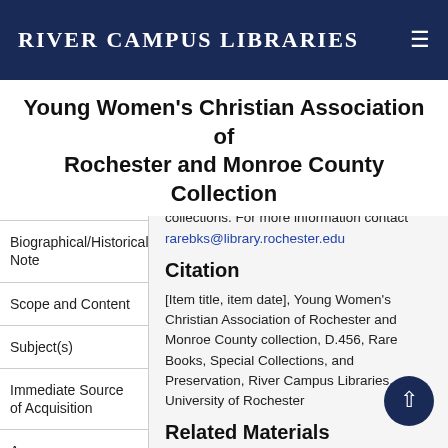River Campus Libraries
Young Women's Christian Association of Rochester and Monroe County Collection
Collection Overview
Biographical/Historical Note
Scope and Content
Subject(s)
Immediate Source of Acquisition
Access
Use
otherwise distributing materials found in the collections. For more information contact rarebks@library.rochester.edu
Citation
[Item title, item date], Young Women's Christian Association of Rochester and Monroe County collection, D.456, Rare Books, Special Collections, and Preservation, River Campus Libraries, University of Rochester
Related Materials